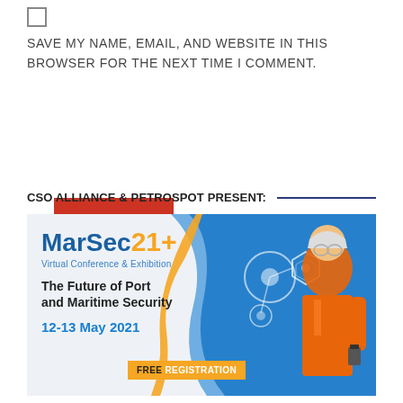[Figure (other): Checkbox (empty square)]
SAVE MY NAME, EMAIL, AND WEBSITE IN THIS BROWSER FOR THE NEXT TIME I COMMENT.
Post Comment
CSO ALLIANCE & PETROSPOT PRESENT:
[Figure (infographic): MarSec 21+ Virtual Conference & Exhibition advertisement. Shows 'MarSec21+' logo in blue and gold, subtitle 'Virtual Conference & Exhibition', text 'The Future of Port and Maritime Security', date '12-13 May 2021', 'FREE REGISTRATION' badge in orange, and a worker in orange safety gear against a blue tech-themed background.]